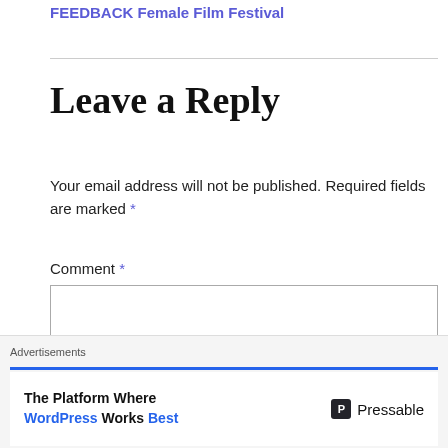FEEDBACK Female Film Festival
Leave a Reply
Your email address will not be published. Required fields are marked *
Comment *
[Figure (screenshot): Empty comment text area input box]
[Figure (screenshot): Close (X) button overlay]
Advertisements
The Platform Where WordPress Works Best — Pressable advertisement